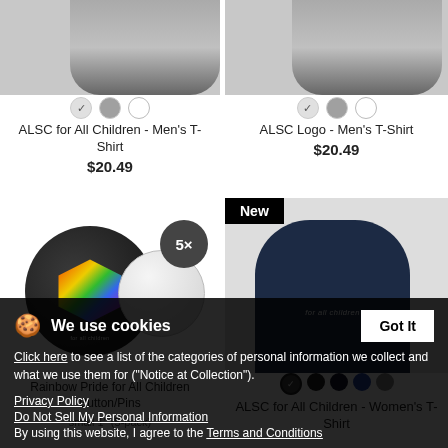[Figure (photo): Product image of men's t-shirt (gray) for ALSC for All Children]
[Figure (photo): Product image of men's t-shirt (gray) for ALSC Logo]
ALSC for All Children - Men's T-Shirt
$20.49
ALSC Logo - Men's T-Shirt
$20.49
[Figure (photo): Rainbow Pride pins 5-pack product image]
[Figure (photo): ALSC for All Children Women's T-Shirt in navy blue, with 'New' badge]
Rainbow Pride for All Children Button/Pins small 1" (5-pack)
ALSC for All Children - Women's T-Shirt
$20.49
We use cookies
Click here to see a list of the categories of personal information we collect and what we use them for ("Notice at Collection").
Privacy Policy
Do Not Sell My Personal Information
By using this website, I agree to the Terms and Conditions